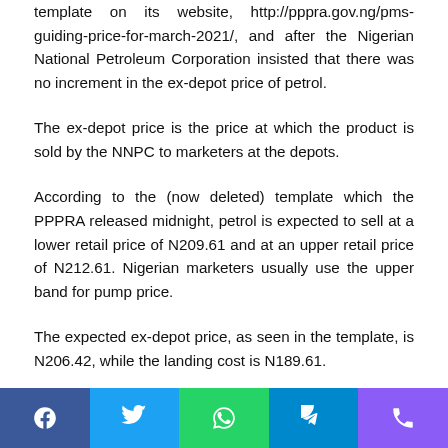template on its website, http://pppra.gov.ng/pms-guiding-price-for-march-2021/, and after the Nigerian National Petroleum Corporation insisted that there was no increment in the ex-depot price of petrol.
The ex-depot price is the price at which the product is sold by the NNPC to marketers at the depots.
According to the (now deleted) template which the PPPRA released midnight, petrol is expected to sell at a lower retail price of N209.61 and at an upper retail price of N212.61. Nigerian marketers usually use the upper band for pump price.
The expected ex-depot price, as seen in the template, is N206.42, while the landing cost is N189.61.
[Figure (infographic): Social sharing bar with icons for Facebook, Twitter, WhatsApp, Telegram, and Phone]